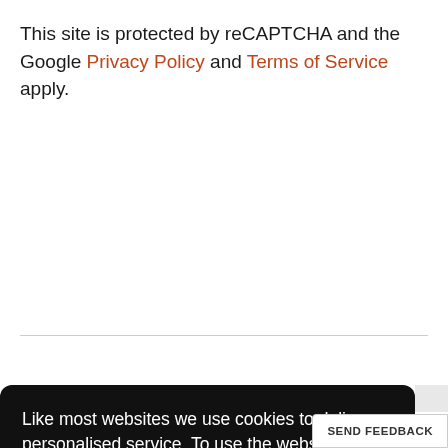This site is protected by reCAPTCHA and the Google Privacy Policy and Terms of Service apply.
Like most websites we use cookies to deliver a personalised service. To use the website as intended please accept cookies.
Accept Cookies
SEND FEEDBACK